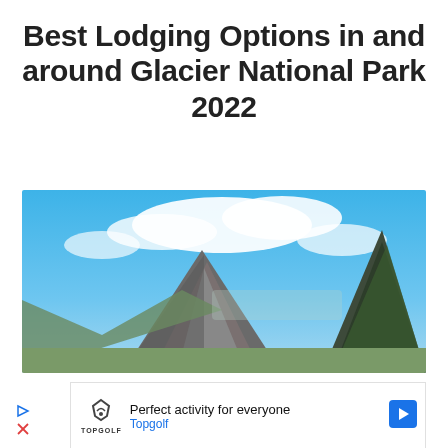Best Lodging Options in and around Glacier National Park 2022
[Figure (photo): Mountain landscape photo showing rocky peaks under a blue sky with white clouds, taken in Glacier National Park]
Perfect activity for everyone
Topgolf